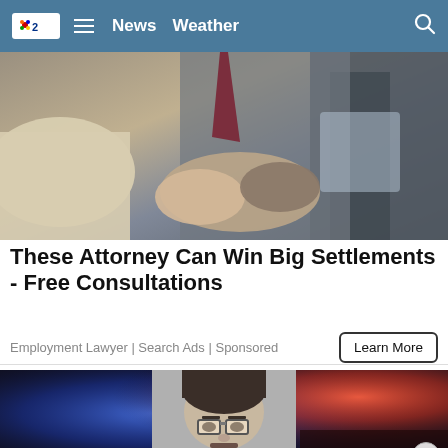NBC2 News Weather
[Figure (photo): Handshake photo showing two people shaking hands in business attire, with a third person visible in background]
These Attorney Can Win Big Settlements - Free Consultations
Employment Lawyer | Search Ads | Sponsored
[Figure (photo): News article image showing police lights background in blue and red with a mugshot of a man wearing glasses in the center]